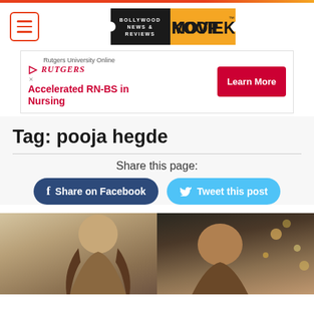MOVIEKOOP
[Figure (infographic): Advertisement banner for Rutgers University Online: Accelerated RN-BS in Nursing. Learn More button.]
Tag: pooja hegde
Share this page:
Share on Facebook | Tweet this post
[Figure (photo): Photo collage of two Bollywood celebrities — a woman on the left and a man on the right.]